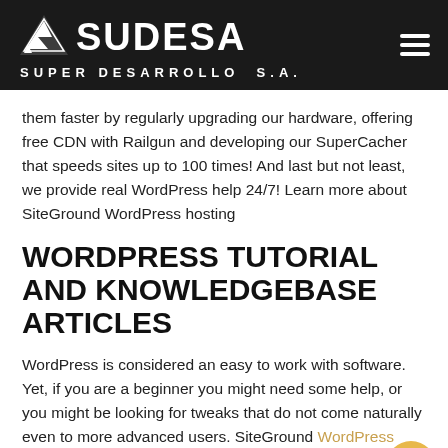SUDESA SUPER DESARROLLO S.A.
them faster by regularly upgrading our hardware, offering free CDN with Railgun and developing our SuperCacher that speeds sites up to 100 times! And last but not least, we provide real WordPress help 24/7! Learn more about SiteGround WordPress hosting
WORDPRESS TUTORIAL AND KNOWLEDGEBASE ARTICLES
WordPress is considered an easy to work with software. Yet, if you are a beginner you might need some help, or you might be looking for tweaks that do not come naturally even to more advanced users. SiteGround WordPress tutorial includes